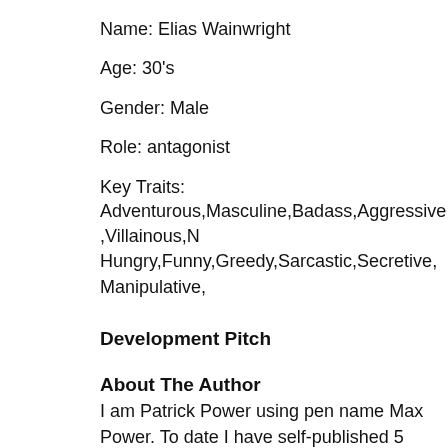Name: Elias Wainwright
Age: 30's
Gender: Male
Role: antagonist
Key Traits:
Adventurous,Masculine,Badass,Aggressive,Villainous,N Hungry,Funny,Greedy,Sarcastic,Secretive,Manipulative,
Development Pitch
About The Author
I am Patrick Power using pen name Max Power. To date I have self-published 5 books, two as part of the yet to be complete trilogy Darkly Wood and I write across genre; thriller, horror,